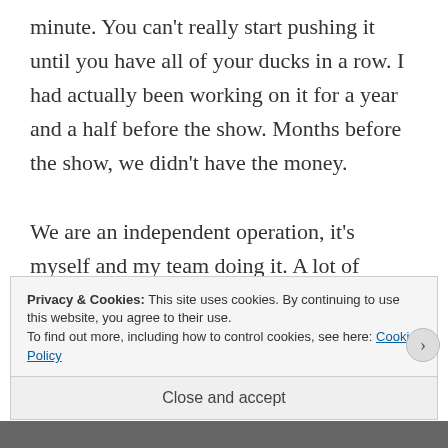minute. You can't really start pushing it until you have all of your ducks in a row. I had actually been working on it for a year and a half before the show. Months before the show, we didn't have the money.

We are an independent operation, it's myself and my team doing it. A lot of times, you have to get everything in
Privacy & Cookies: This site uses cookies. By continuing to use this website, you agree to their use.
To find out more, including how to control cookies, see here: Cookie Policy
Close and accept